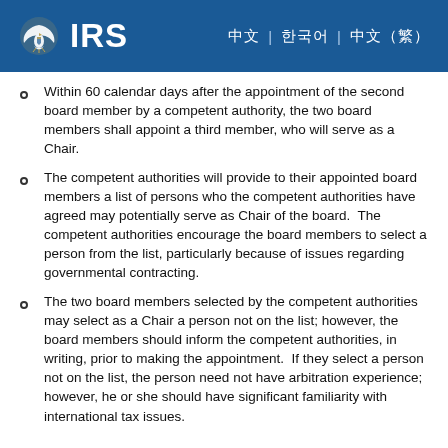IRS
Within 60 calendar days after the appointment of the second board member by a competent authority, the two board members shall appoint a third member, who will serve as a Chair.
The competent authorities will provide to their appointed board members a list of persons who the competent authorities have agreed may potentially serve as Chair of the board.  The competent authorities encourage the board members to select a person from the list, particularly because of issues regarding governmental contracting.
The two board members selected by the competent authorities may select as a Chair a person not on the list; however, the board members should inform the competent authorities, in writing, prior to making the appointment.  If they select a person not on the list, the person need not have arbitration experience; however, he or she should have significant familiarity with international tax issues.